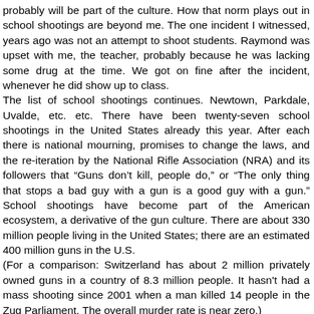probably will be part of the culture. How that norm plays out in school shootings are beyond me. The one incident I witnessed, years ago was not an attempt to shoot students. Raymond was upset with me, the teacher, probably because he was lacking some drug at the time. We got on fine after the incident, whenever he did show up to class. The list of school shootings continues. Newtown, Parkdale, Uvalde, etc. etc. There have been twenty-seven school shootings in the United States already this year. After each there is national mourning, promises to change the laws, and the re-iteration by the National Rifle Association (NRA) and its followers that “Guns don’t kill, people do,” or “The only thing that stops a bad guy with a gun is a good guy with a gun.” School shootings have become part of the American ecosystem, a derivative of the gun culture. There are about 330 million people living in the United States; there are an estimated 400 million guns in the U.S. (For a comparison: Switzerland has about 2 million privately owned guns in a country of 8.3 million people. It hasn't had a mass shooting since 2001 when a man killed 14 people in the Zug Parliament. The overall murder rate is near zero.)